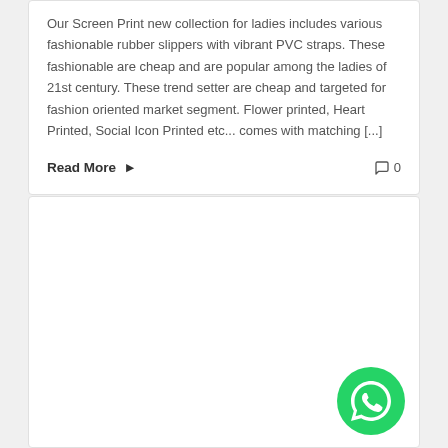Our Screen Print new collection for ladies includes various fashionable rubber slippers with vibrant PVC straps. These fashionable are cheap and are popular among the ladies of 21st century. These trend setter are cheap and targeted for fashion oriented market segment. Flower printed, Heart Printed, Social Icon Printed etc... comes with matching [...]
Read More  0
[Figure (other): Empty white card panel with a WhatsApp button icon in the bottom right corner]